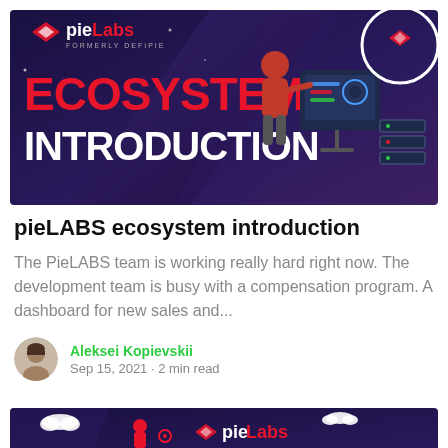[Figure (illustration): pieLabs (formerly DeFiPie) banner with dark blue/purple background, red and white ECOSYSTEM INTRODUCTION text, logo top-left, figure of person at control panel top-right]
pieLABS ecosystem introduction
The PieLABS team is working really hard right now. The development team is busy with a compensation program. A dashboard for new sales and...
Aleksei Kopievskii
Sep 15, 2021 · 2 min read
[Figure (illustration): Bottom partial banner showing pieLabs logo on dark background with decorative elements]